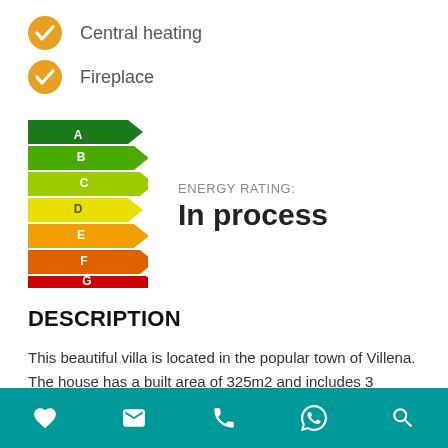Central heating
Fireplace
[Figure (infographic): EU Energy Rating chart showing bands A through G with colors from green (A) to red (G), arrow-shaped labels]
ENERGY RATING: In process
DESCRIPTION
This beautiful villa is located in the popular town of Villena. The house has a built area of 325m2 and includes 3 bedrooms, 1 large bathroom, 2
Footer navigation bar with heart, email, phone, WhatsApp, and search icons